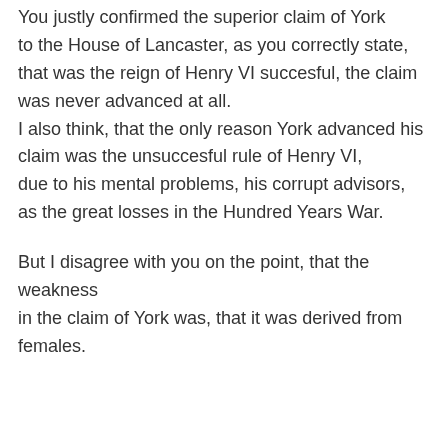You justly confirmed the superior claim of York to the House of Lancaster, as you correctly state, that was the reign of Henry VI succesful, the claim was never advanced at all. I also think, that the only reason York advanced his claim was the unsuccesful rule of Henry VI, due to his mental problems, his corrupt advisors, as the great losses in the Hundred Years War.

But I disagree with you on the point, that the weakness in the claim of York was, that it was derived from females.